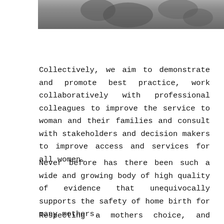[Figure (photo): Black and white photograph showing a mother and baby, cropped at the top of the page]
Collectively, we aim to demonstrate and promote best practice, work collaboratively with professional colleagues to improve the service to woman and their families and consult with stakeholders and decision makers to improve access and services for all women.
Never before has there been such a wide and growing body of high quality of evidence that unequivocally supports the safety of home birth for many mothers.
Respecting a mothers choice, and human right, to not only physical safety for her and her baby, but